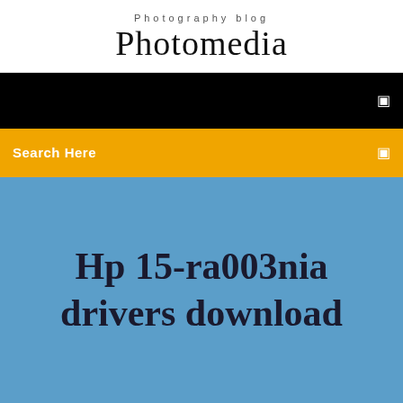Photography blog
Photomedia
[Figure (screenshot): Black navigation bar with a small white icon on the right side]
Search Here
Hp 15-ra003nia drivers download